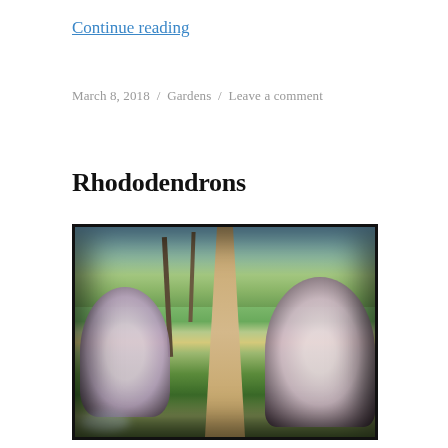Continue reading
March 8, 2018 / Gardens / Leave a comment
Rhododendrons
[Figure (photo): A garden path lined on both sides by large rhododendron bushes in bloom with white/pink flowers, with trees overhead and blue sky. The photograph has an aged, slightly faded look with dark vignette borders suggesting a film or Polaroid print.]